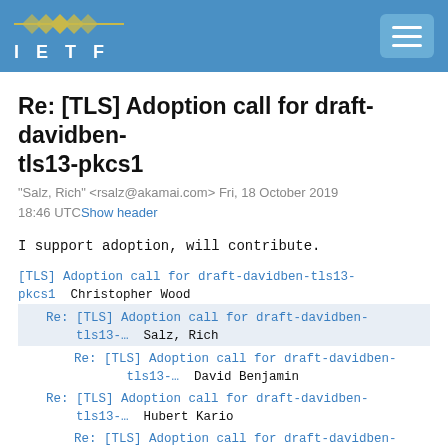IETF
Re: [TLS] Adoption call for draft-davidben-tls13-pkcs1
"Salz, Rich" <rsalz@akamai.com> Fri, 18 October 2019 18:46 UTC Show header
I support adoption, will contribute.
[TLS] Adoption call for draft-davidben-tls13-pkcs1  Christopher Wood
Re: [TLS] Adoption call for draft-davidben-tls13-…  Salz, Rich
Re: [TLS] Adoption call for draft-davidben-tls13-…  David Benjamin
Re: [TLS] Adoption call for draft-davidben-tls13-…  Hubert Kario
Re: [TLS] Adoption call for draft-davidben-tls13-…  David Benjamin
Re: [TLS] Adoption call for draft-davidben-tls13-…  Richard Barnes